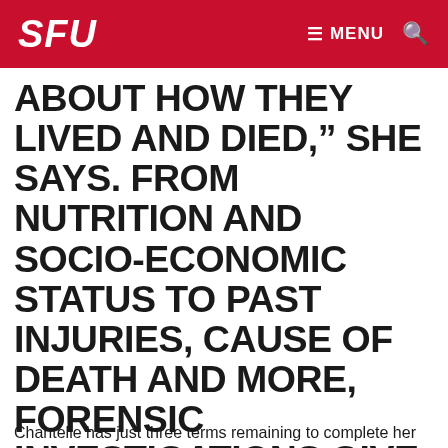SFU | MENU
ABOUT HOW THEY LIVED AND DIED," SHE SAYS. FROM NUTRITION AND SOCIO-ECONOMIC STATUS TO PAST INJURIES, CAUSE OF DEATH AND MORE, FORENSIC INVESTIGATIONS GIVE VOICE TO THOSE WHO CAN NO LONGER SPEAK FOR THEMSELVES.
Chantelle has just three terms remaining to complete her